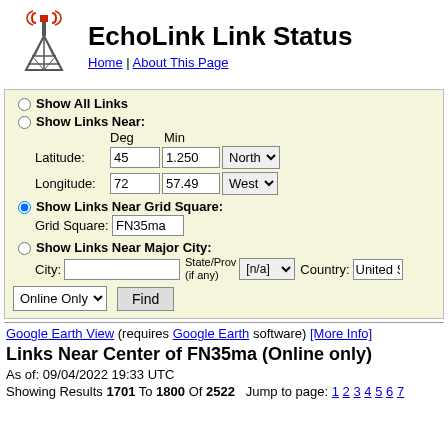[Figure (logo): EchoLink tower logo with red signal waves on top]
EchoLink Link Status
Home | About This Page
Show All Links
Show Links Near:
Deg Min
Latitude: 45 1.250 North
Longitude: 72 57.49 West
Show Links Near Grid Square:
Grid Square: FN35ma
Show Links Near Major City:
City: State/Prov (if any) [n/a] Country: United S
Online Only Find
Google Earth View (requires Google Earth software) [More Info]
Links Near Center of FN35ma (Online only)
As of: 09/04/2022 19:33 UTC
Showing Results 1701 To 1800 Of 2522   Jump to page: 1 2 3 4 5 6 7